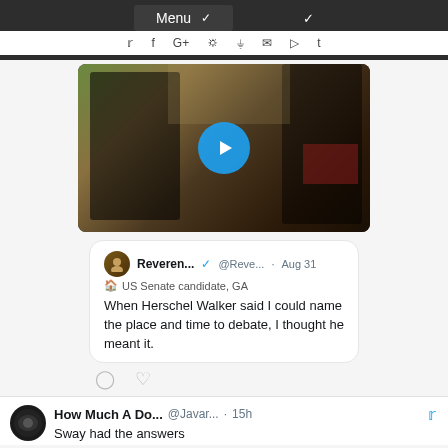Menu (navigation bar with social icons)
[Figure (screenshot): Video thumbnail showing two men in a crowd scene with a blue play button overlay]
Reveren... @Reve... · Aug 31
🏦 US Senate candidate, GA
When Herschel Walker said I could name the place and time to debate, I thought he meant it.
How Much A Do... @Javar... · 15h
Sway had the answers